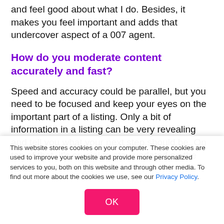and feel good about what I do. Besides, it makes you feel important and adds that undercover aspect of a 007 agent.
How do you moderate content accurately and fast?
Speed and accuracy could be parallel, but you need to be focused and keep your eyes on the important part of a listing. Only a bit of information in a listing can be very revealing and tell you what your next step should be. On top of that, it's crucial to stay updated on the latest fraud
This website stores cookies on your computer. These cookies are used to improve your website and provide more personalized services to you, both on this website and through other media. To find out more about the cookies we use, see our Privacy Policy.
OK